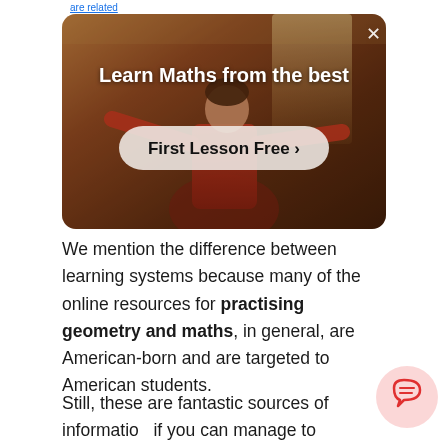are related
[Figure (screenshot): Advertisement banner showing a person with arms outstretched in a classroom/room setting. Text overlay reads 'Learn Maths from the best' with a button 'First Lesson Free >' and an X close button in the top right corner.]
We mention the difference between learning systems because many of the online resources for practising geometry and maths, in general, are American-born and are targeted to American students.
Still, these are fantastic sources of information if you can manage to overlook the differences in